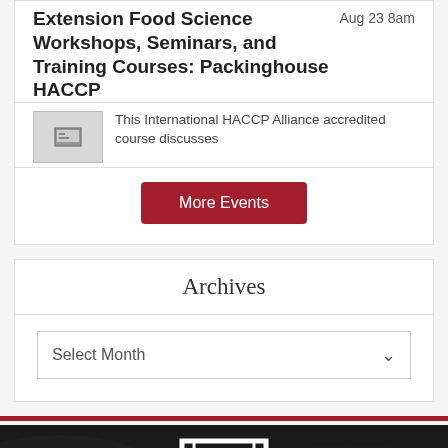Extension Food Science Workshops, Seminars, and Training Courses: Packinghouse HACCP
Aug 23 8am
This International HACCP Alliance accredited course discusses
More Events
Archives
Select Month